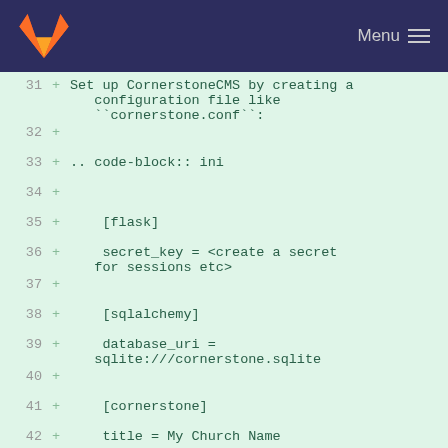GitLab Menu
[Figure (screenshot): Code diff view showing lines 31-46 of a configuration file setup, with added lines (marked +) on a light green background. Lines show CornerstoneCMS configuration including flask, sqlalchemy, and cornerstone sections, and a 'Deploying to Production' heading.]